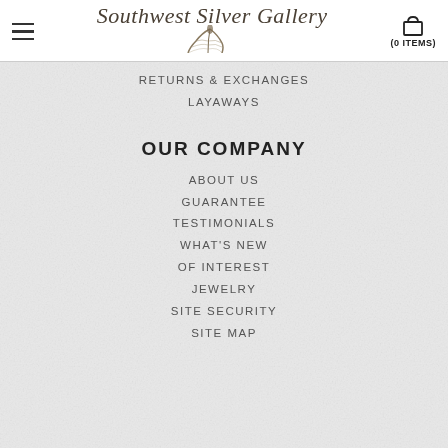Southwest Silver Gallery (0 ITEMS)
RETURNS & EXCHANGES
LAYAWAYS
OUR COMPANY
ABOUT US
GUARANTEE
TESTIMONIALS
WHAT'S NEW
OF INTEREST
JEWELRY
SITE SECURITY
SITE MAP